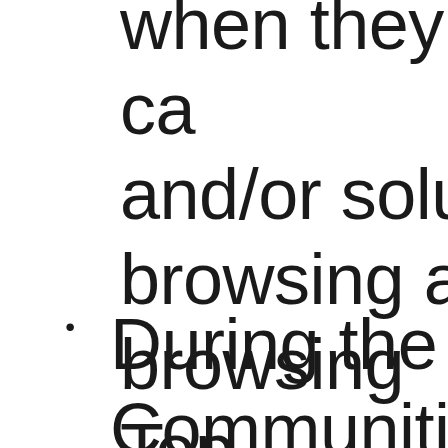when they ca and/or solut browsing a k browsing Top content.
During the c Communities